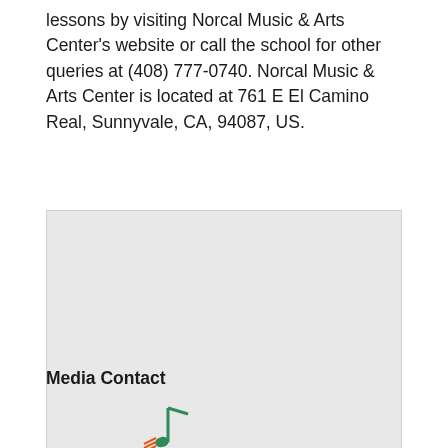lessons by visiting Norcal Music & Arts Center's website or call the school for other queries at (408) 777-0740. Norcal Music & Arts Center is located at 761 E El Camino Real, Sunnyvale, CA, 94087, US.
[Figure (map): A light grey map placeholder image showing a Google Maps-style embedded map, likely centered around 761 E El Camino Real, Sunnyvale, CA.]
Media Contact
[Figure (logo): Partial logo visible at bottom of page, appears to be Norcal Music & Arts Center logo with green and orange musical note elements.]